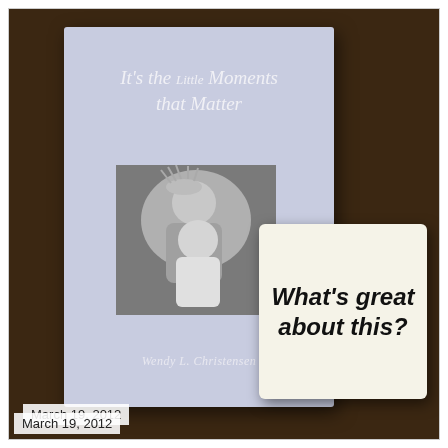[Figure (photo): A photograph of a book titled 'It's the Little Moments that Matter' by Wendy L. Christensen, with a black-and-white photo of two people on the cover, placed on a dark wood surface next to a white tile/plaque reading 'What's great about this?']
March 19, 2012